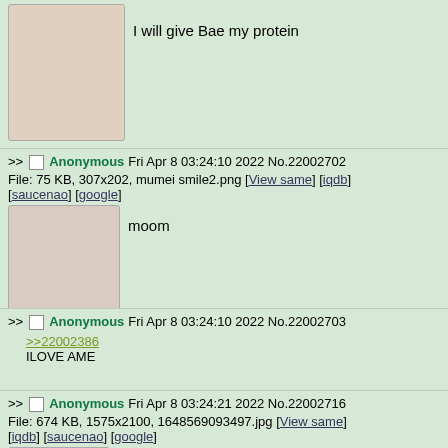[Figure (illustration): Partial anime character illustration at top of page - red-haired female character in bikini]
I will give Bae my protein
>> Anonymous Fri Apr 8 03:24:10 2022 No.22002702
File: 75 KB, 307x202, mumei smile2.png [View same] [iqdb] [saucenao] [google]
[Figure (illustration): Anime character close-up face illustration]
moom
>> Anonymous Fri Apr 8 03:24:10 2022 No.22002703
>>22002386
ILOVE AME
>> Anonymous Fri Apr 8 03:24:21 2022 No.22002716
File: 674 KB, 1575x2100, 1648569093497.jpg [View same] [iqdb] [saucenao] [google]
[Figure (illustration): Anime character with silver/grey hair illustration]
>>22002573